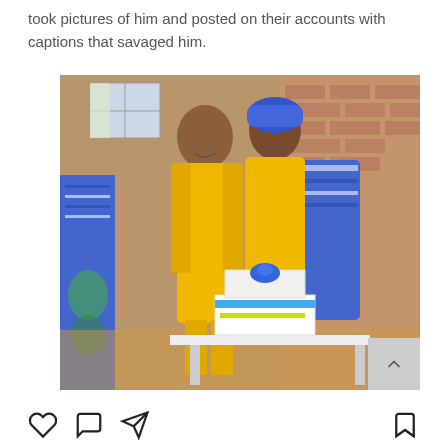took pictures of him and posted on their accounts with captions that savaged him.
[Figure (photo): A couple dressed in matching yellow traditional African outfits standing together smiling. A decorated yellow, white and blue cake is on a table in front of them. Background shows a brick wall and blue fabric/banner on the left.]
[Figure (other): Instagram-style action icons: heart (like), speech bubble (comment), paper plane (share) on the left, and bookmark icon on the right.]